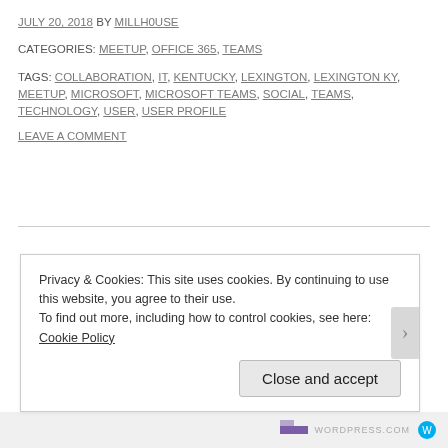JULY 20, 2018 BY MILLH0USE
CATEGORIES: MEETUP, OFFICE 365, TEAMS
TAGS: COLLABORATION, IT, KENTUCKY, LEXINGTON, LEXINGTON KY, MEETUP, MICROSOFT, MICROSOFT TEAMS, SOCIAL, TEAMS, TECHNOLOGY, USER, USER PROFILE
LEAVE A COMMENT
SEARCH
Search …
Privacy & Cookies: This site uses cookies. By continuing to use this website, you agree to their use.
To find out more, including how to control cookies, see here: Cookie Policy
Close and accept